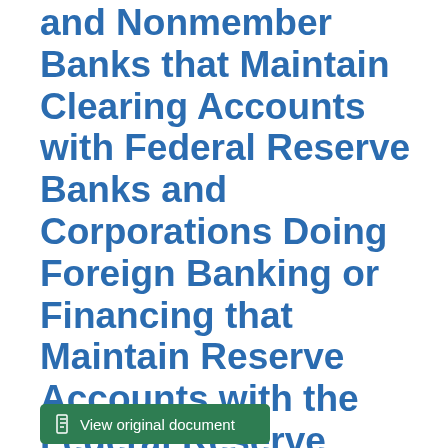and Nonmember Banks that Maintain Clearing Accounts with Federal Reserve Banks and Corporations Doing Foreign Banking or Financing that Maintain Reserve Accounts with the Federal Reserve Banks : As of December 31, 1951
View original document